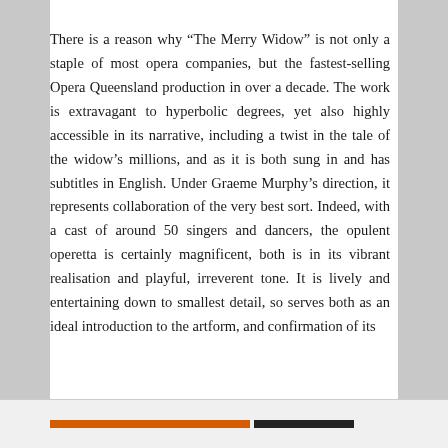There is a reason why “The Merry Widow” is not only a staple of most opera companies, but the fastest-selling Opera Queensland production in over a decade. The work is extravagant to hyperbolic degrees, yet also highly accessible in its narrative, including a twist in the tale of the widow’s millions, and as it is both sung in and has subtitles in English. Under Graeme Murphy’s direction, it represents collaboration of the very best sort. Indeed, with a cast of around 50 singers and dancers, the opulent operetta is certainly magnificent, both is in its vibrant realisation and playful, irreverent tone. It is lively and entertaining down to smallest detail, so serves both as an ideal introduction to the artform, and confirmation of its
Privacy & Cookies: This site uses cookies. By continuing to use this website, you agree to their use.
To find out more, including how to control cookies, see here: Cookie Policy